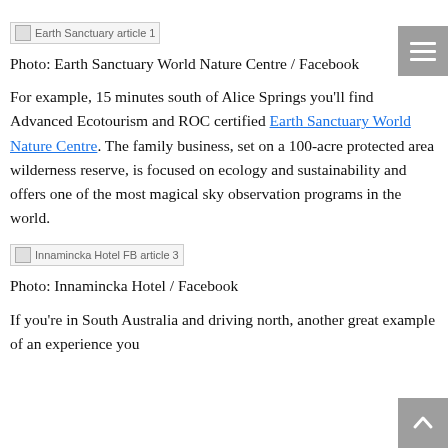[Figure (photo): Broken image placeholder for 'Earth Sanctuary article 1']
Photo: Earth Sanctuary World Nature Centre / Facebook
For example, 15 minutes south of Alice Springs you'll find Advanced Ecotourism and ROC certified Earth Sanctuary World Nature Centre. The family business, set on a 100-acre protected area wilderness reserve, is focused on ecology and sustainability and offers one of the most magical sky observation programs in the world.
[Figure (photo): Broken image placeholder for 'Innamincka Hotel FB article 3']
Photo: Innamincka Hotel / Facebook
If you're in South Australia and driving north, another great example of an experience you